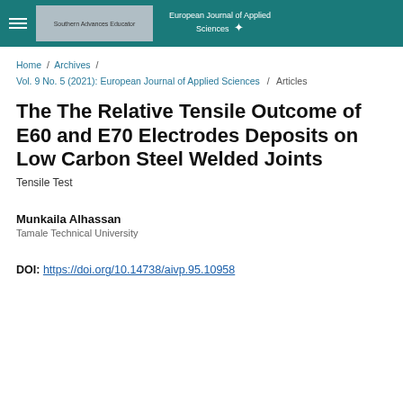European Journal of Applied Sciences
Home / Archives / Vol. 9 No. 5 (2021): European Journal of Applied Sciences / Articles
The The Relative Tensile Outcome of E60 and E70 Electrodes Deposits on Low Carbon Steel Welded Joints
Tensile Test
Munkaila Alhassan
Tamale Technical University
DOI: https://doi.org/10.14738/aivp.95.10958